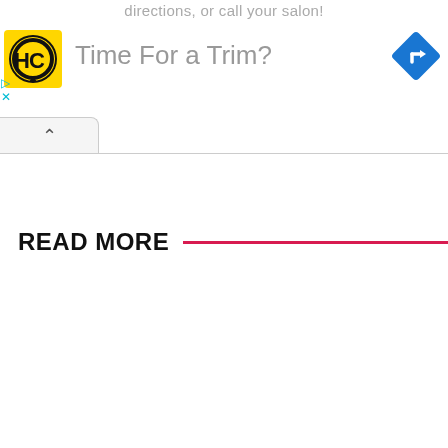directions, or call your salon!
[Figure (logo): HC logo: yellow square with black circle containing HC letters]
[Figure (logo): Blue diamond navigation/directions icon with white right-turn arrow]
Time For a Trim?
READ MORE